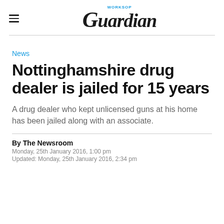WORKSOP Guardian
News
Nottinghamshire drug dealer is jailed for 15 years
A drug dealer who kept unlicensed guns at his home has been jailed along with an associate.
By The Newsroom
Monday, 25th January 2016, 1:00 pm
Updated: Monday, 25th January 2016, 2:34 pm